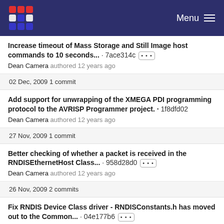Menu
Increase timeout of Mass Storage and Still Image host commands to 10 seconds... · 7ace314c ···
Dean Camera authored 12 years ago
02 Dec, 2009 1 commit
Add support for unwrapping of the XMEGA PDI programming protocol to the AVRISP Programmer project. · 1f8dfd02
Dean Camera authored 12 years ago
27 Nov, 2009 1 commit
Better checking of whether a packet is received in the RNDISEthernetHost Class... · 958d28d0 ···
Dean Camera authored 12 years ago
26 Nov, 2009 2 commits
Fix RNDIS Device Class driver - RNDISConstants.h has moved out to the Common... · 04e177b6 ···